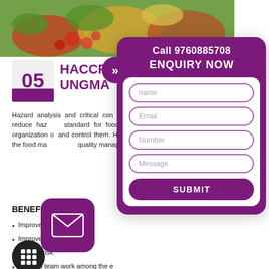[Figure (photo): Colorful fresh vegetables and produce including strawberries, lemons, and greens photographed from above.]
05
HACCP C
UNGMA
Hazard analysis and critical con... aim of HACCP is to reduce haz... standard for food safety an... guidelines to the organization o... and control them. HACCP helps... well as to improve the food ma... quality management system.
BENEFITS OF HACC
Improve t...
Improve t...
duce risk ...
op team work among the e...
e saving and cost saving process.
Call 9760885708
ENQUIRY NOW
name
Email
Number
Message
SUBMIT